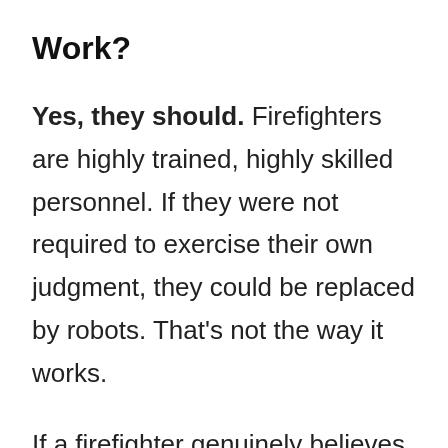Work?
Yes, they should. Firefighters are highly trained, highly skilled personnel. If they were not required to exercise their own judgment, they could be replaced by robots. That's not the way it works.
If a firefighter genuinely believes that order is unsafe – they ought to refuse to comply with it. They should also identify why they think the situation is unsafe (it may